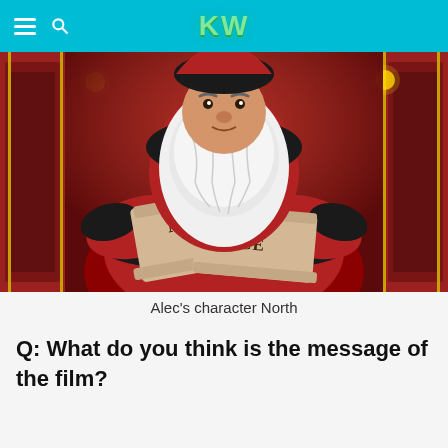KW
[Figure (photo): Animated character North (Santa Claus) from a film, holding scrolls labeled 'NAUGHTY' and 'NICE', wearing a dark fur-trimmed red coat with a large white beard.]
Alec's character North
Q: What do you think is the message of the film?